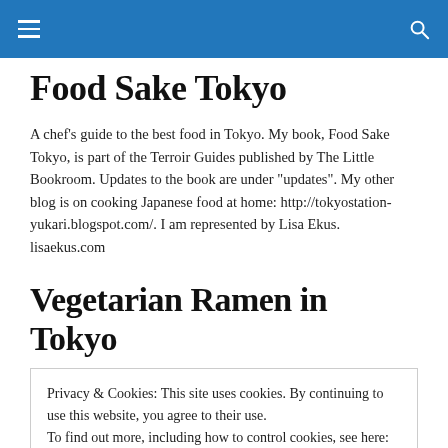Food Sake Tokyo — navigation header with hamburger menu and search icon
Food Sake Tokyo
A chef's guide to the best food in Tokyo. My book, Food Sake Tokyo, is part of the Terroir Guides published by The Little Bookroom. Updates to the book are under "updates". My other blog is on cooking Japanese food at home: http://tokyostation-yukari.blogspot.com/. I am represented by Lisa Ekus. lisaekus.com
Vegetarian Ramen in Tokyo
Privacy & Cookies: This site uses cookies. By continuing to use this website, you agree to their use.
To find out more, including how to control cookies, see here: Cookie Policy
Close and accept